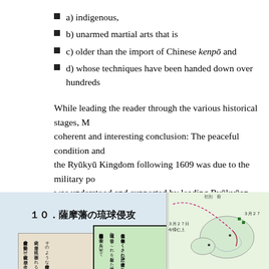a) indigenous,
b) unarmed martial arts that is
c) older than the import of Chinese kenpō and
d) whose techniques have been handed down over hundreds
While leading the reader through the various historical stages, M coherent and interesting conclusion: The peaceful condition and the Ryūkyū Kingdom following 1609 was due to the military po was understood and supported by leading Ryūkyūan politicians
[Figure (photo): Historical map and document insets showing '10. 薩摩藩の琉球侵攻' (10. Satsuma clan's invasion of Ryukyu), with old Japanese handwritten documents on the left and center, a legend showing 薩摩軍海路 and 薩摩軍陸路, and a historical map on the right with date markers 3月27日 and place names.]